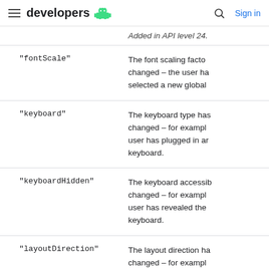developers
Added in API level 24.
| Value | Description |
| --- | --- |
| "fontScale" | The font scaling facto changed — the user ha selected a new global |
| "keyboard" | The keyboard type has changed — for exampl user has plugged in ar keyboard. |
| "keyboardHidden" | The keyboard accessib changed — for exampl user has revealed the keyboard. |
| "layoutDirection" | The layout direction ha changed — for exampl |